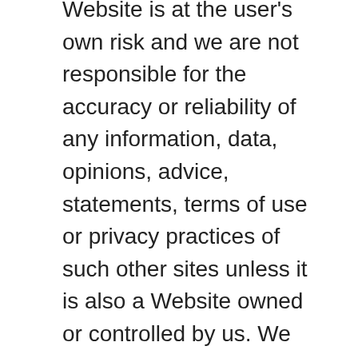Website is at the user's own risk and we are not responsible for the accuracy or reliability of any information, data, opinions, advice, statements, terms of use or privacy practices of such other sites unless it is also a Website owned or controlled by us. We provide these links merely as a convenience and the inclusion of such links does not imply an endorsement of the site or their entities, products or services. We encourage you to be aware when you leave our Website and to read the privacy statements of each and every site that collects personally identifiable information. This Privacy Policy applies solely to information collected by a Website on the domains owned and controlled by us.
Security
Our Websites take precautions to protect our users' information. We use standard industry mechanisms